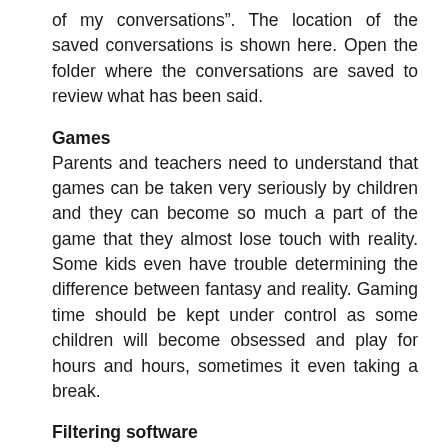of my conversations”. The location of the saved conversations is shown here. Open the folder where the conversations are saved to review what has been said.
Games
Parents and teachers need to understand that games can be taken very seriously by children and they can become so much a part of the game that they almost lose touch with reality. Some kids even have trouble determining the difference between fantasy and reality. Gaming time should be kept under control as some children will become obsessed and play for hours and hours, sometimes it even taking a break.
Filtering software
Parents and schools can use filtering software to help ensure that kids are going to safe sites. Search ‘Internet filtering software’ on your browser to find out what options are available.